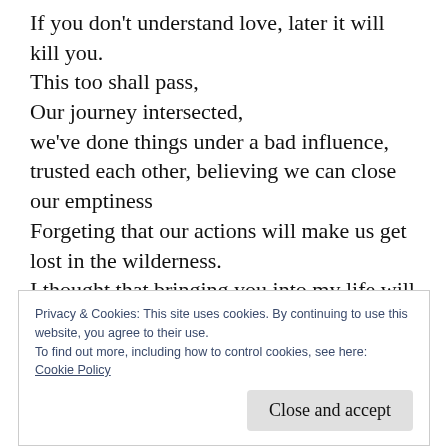If you don't understand love, later it will kill you.
This too shall pass,
Our journey intersected,
we've done things under a bad influence,
trusted each other, believing we can close our emptiness
Forgeting that our actions will make us get lost in the wilderness.
I thought that bringing you into my life will
Privacy & Cookies: This site uses cookies. By continuing to use this website, you agree to their use.
To find out more, including how to control cookies, see here:
Cookie Policy
Close and accept
but now I'm the only person left to pay